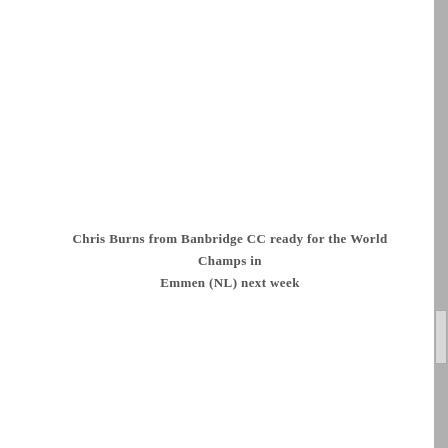Chris Burns from Banbridge CC ready for the World Champs in Emmen (NL) next week